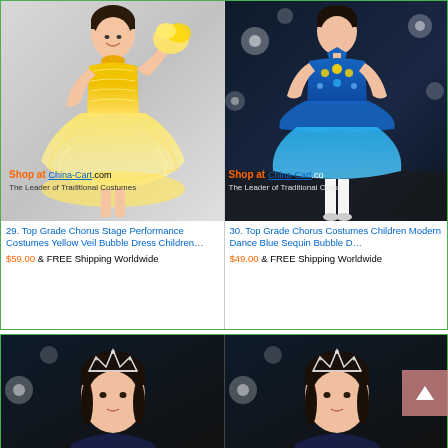[Figure (photo): Girl wearing yellow sequin and tulle bubble dress with yellow feather accent, China-Cart.com watermark]
[Figure (photo): Girl wearing blue sequin bubble dress, dark background with bokeh lights, China-Cart.com watermark (partially visible)]
29. Top Grade Chorus Stage Performance Costumes Yellow Veil Bubble Dress Children…
$59.00 & FREE Shipping Worldwide
30. Top Grade Chorus Costumes Children Modern Dance Blue Sequin Bubble Dr…
$49.00 & FREE Shipping Worldwide
[Figure (photo): Girl with tiara crown, dark background, lower left product image]
[Figure (photo): Girl with tiara crown, dark background, lower right product image]